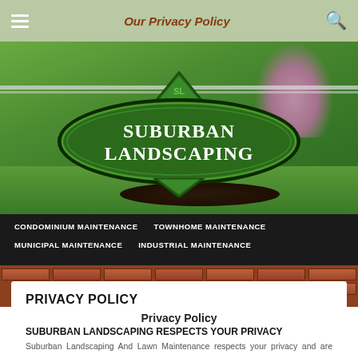Our Privacy Policy
[Figure (logo): Suburban Landscaping company logo — dark green oval/badge shape with white text 'SUBURBAN LANDSCAPING' and 'SL' monogram in a triangle at top, on a garden background photo]
CONDOMINIUM MAINTENANCE  TOWNHOME MAINTENANCE  MUNICIPAL MAINTENANCE  INDUSTRIAL MAINTENANCE
PRIVACY POLICY
Privacy Policy
SUBURBAN LANDSCAPING RESPECTS YOUR PRIVACY
Suburban Landscaping And Lawn Maintenance respects your privacy and are committed to protecting it and any information you send us. Information